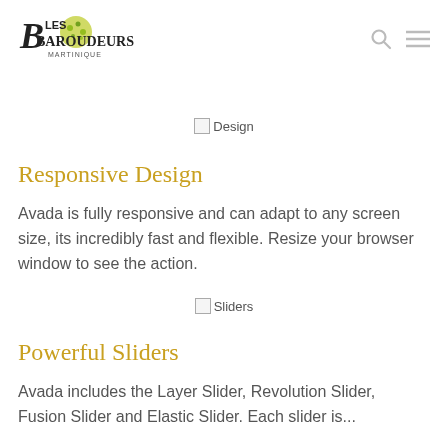[Figure (logo): Les Baroudeurs Martinique logo with stylized text and decorative globe/leaf motif]
[Figure (other): Broken image placeholder labeled 'Design']
Responsive Design
Avada is fully responsive and can adapt to any screen size, its incredibly fast and flexible. Resize your browser window to see the action.
[Figure (other): Broken image placeholder labeled 'Sliders']
Powerful Sliders
Avada includes the Layer Slider, Revolution Slider, Fusion Slider and Elastic Slider. Each slider is...